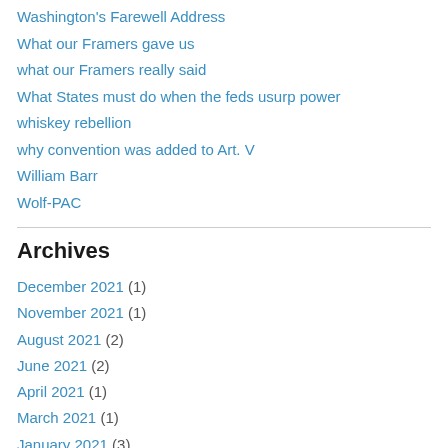Washington's Farewell Address
What our Framers gave us
what our Framers really said
What States must do when the feds usurp power
whiskey rebellion
why convention was added to Art. V
William Barr
Wolf-PAC
Archives
December 2021 (1)
November 2021 (1)
August 2021 (2)
June 2021 (2)
April 2021 (1)
March 2021 (1)
January 2021 (3)
December 2020 (2)